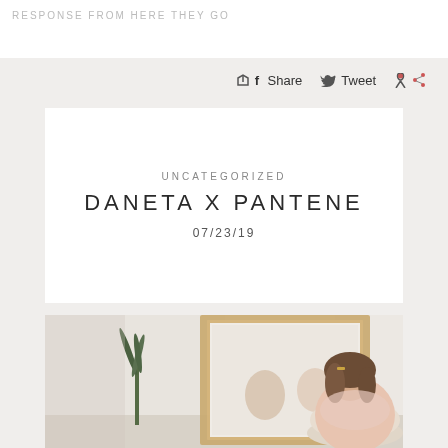DANETA X PANTENE
Share  Tweet
UNCATEGORIZED
DANETA X PANTENE
07/23/19
[Figure (photo): Woman with brown wavy hair with gold hair clips, sitting in front of a large gold-framed mirror in a bright white room with a tall plant (snake plant), looking down. Reflection visible in mirror showing another person.]